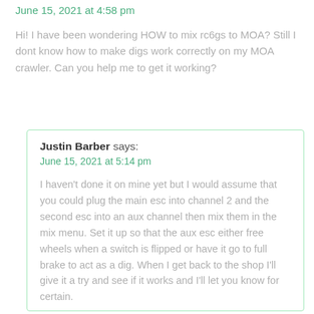June 15, 2021 at 4:58 pm
Hi! I have been wondering HOW to mix rc6gs to MOA? Still I dont know how to make digs work correctly on my MOA crawler. Can you help me to get it working?
Justin Barber says:
June 15, 2021 at 5:14 pm
I haven't done it on mine yet but I would assume that you could plug the main esc into channel 2 and the second esc into an aux channel then mix them in the mix menu. Set it up so that the aux esc either free wheels when a switch is flipped or have it go to full brake to act as a dig. When I get back to the shop I'll give it a try and see if it works and I'll let you know for certain.